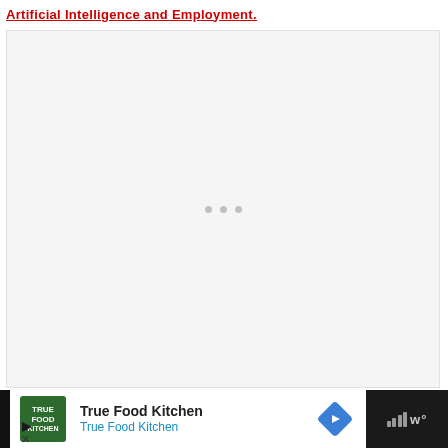Artificial Intelligence and Employment.
[Figure (other): Large light gray content area with three small loading dots centered, indicating a loading or placeholder image region.]
[Figure (other): Advertisement banner for True Food Kitchen. Dark background on left and right strips, white center area with green True Food Kitchen logo, bold text 'True Food Kitchen', blue subtitle 'True Food Kitchen', blue diamond navigation icon, and gray signal bars with degree symbol on dark right strip.]